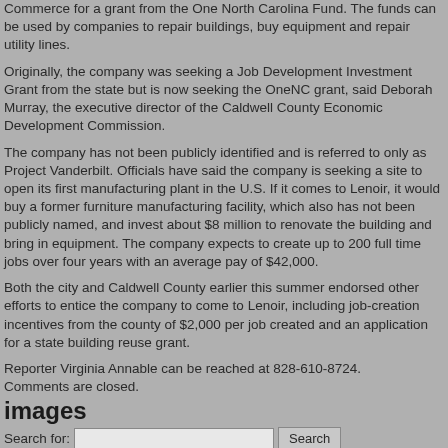Commerce for a grant from the One North Carolina Fund. The funds can be used by companies to repair buildings, buy equipment and repair utility lines.
Originally, the company was seeking a Job Development Investment Grant from the state but is now seeking the OneNC grant, said Deborah Murray, the executive director of the Caldwell County Economic Development Commission.
The company has not been publicly identified and is referred to only as Project Vanderbilt. Officials have said the company is seeking a site to open its first manufacturing plant in the U.S. If it comes to Lenoir, it would buy a former furniture manufacturing facility, which also has not been publicly named, and invest about $8 million to renovate the building and bring in equipment. The company expects to create up to 200 full time jobs over four years with an average pay of $42,000.
Both the city and Caldwell County earlier this summer endorsed other efforts to entice the company to come to Lenoir, including job-creation incentives from the county of $2,000 per job created and an application for a state building reuse grant.
Reporter Virginia Annable can be reached at 828-610-8724.
Comments are closed.
images
Search for: [input] Search
Archives
August 2022
July 2022
June 2022
May 2022
April 2022
March 2022